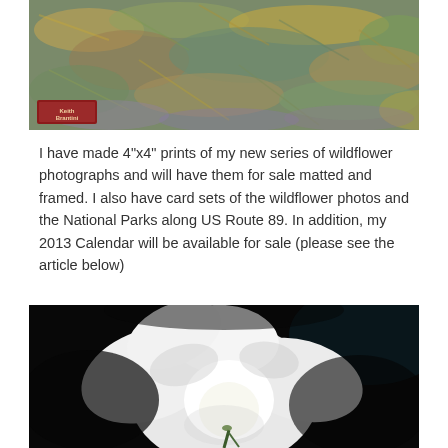[Figure (photo): Close-up painting or textured photograph of wildflowers and grasses in earthy greens, golds, and muted purples, with a small artist stamp in the lower-left corner reading 'Keith Brantini']
I have made 4"x4" prints of my new series of wildflower photographs and will have them for sale matted and framed. I also have card sets of the wildflower photos and the National Parks along US Route 89. In addition, my 2013 Calendar will be available for sale (please see the article below)
[Figure (photo): Close-up photograph of a large white flower (possibly moonflower or datura) against a dark/black background, with green stamens visible in the center]